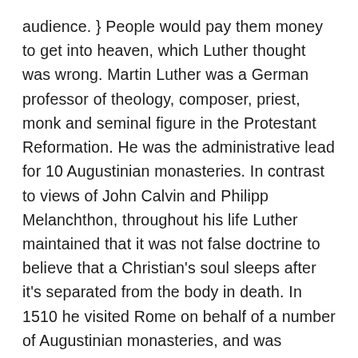audience. } People would pay them money to get into heaven, which Luther thought was wrong. Martin Luther was a German professor of theology, composer, priest, monk and seminal figure in the Protestant Reformation. He was the administrative lead for 10 Augustinian monasteries. In contrast to views of John Calvin and Philipp Melanchthon, throughout his life Luther maintained that it was not false doctrine to believe that a Christian's soul sleeps after it's separated from the body in death. In 1510 he visited Rome on behalf of a number of Augustinian monasteries, and was appalled by the corruption he found there. vertical-align: middle; Luther went to study in Rome. In December 1544, he began to feel the effects of angina. His translation of the Bible into the German vernacular made it more accessible to the laity, an event that had a massive impact on both the church and German culture.